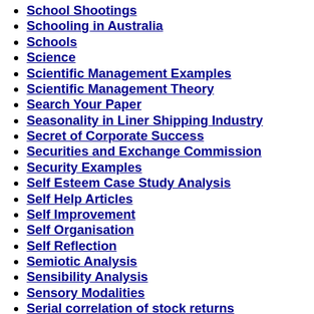School Shootings
Schooling in Australia
Schools
Science
Scientific Management Examples
Scientific Management Theory
Search Your Paper
Seasonality in Liner Shipping Industry
Secret of Corporate Success
Securities and Exchange Commission
Security Examples
Self Esteem Case Study Analysis
Self Help Articles
Self Improvement
Self Organisation
Self Reflection
Semiotic Analysis
Sensibility Analysis
Sensory Modalities
Serial correlation of stock returns
Service Quality in National Healthcare Supply